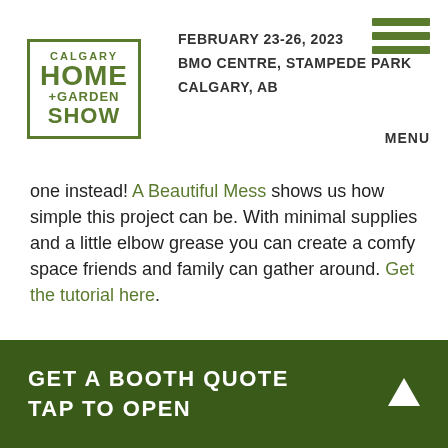CALGARY HOME +GARDEN SHOW | FEBRUARY 23-26, 2023 | BMO CENTRE, STAMPEDE PARK | CALGARY, AB
[Figure (photo): Close-up photo of metal fence/gate bars with black and white spotted fabric visible behind them]
Image via The Proper Blog
Fabulous Fire Pit - Don't buy a fire pit, make one instead! A Beautiful Mess shows us how simple this project can be. With minimal supplies and a little elbow grease you can create a comfy space friends and family can gather around. Get the tutorial here.
[Figure (photo): Partial outdoor photo showing wooden fence boards]
GET A BOOTH QUOTE TAP TO OPEN